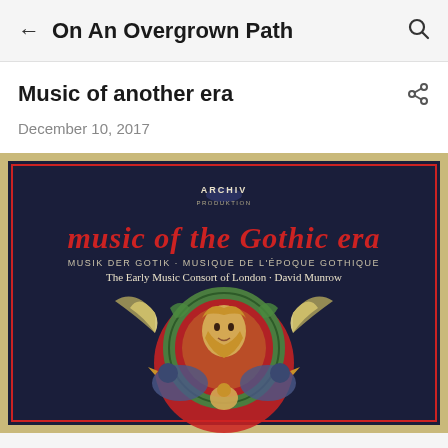← On An Overgrown Path 🔍
Music of another era
December 10, 2017
[Figure (photo): Album cover of 'Music of the Gothic Era' on Archiv Produktion label, featuring medieval illuminated manuscript art with a haloed figure (Christ or saint) surrounded by winged creatures on a dark navy background. Text reads: 'music of the Gothic Era / Musik der Gotik · Musique de l'Epoque Gothique / The Early Music Consort of London · David Munrow']